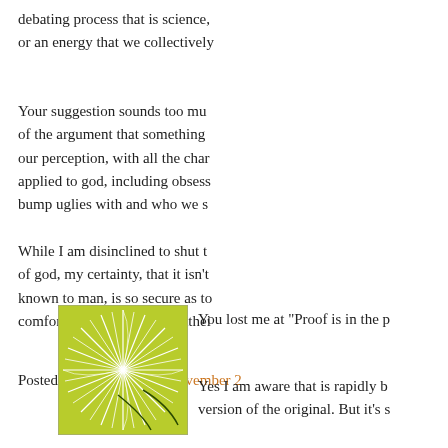debating process that is science,
or an energy that we collectively
Your suggestion sounds too mu...
of the argument that something ...
our perception, with all the char...
applied to god, including obsess...
bump uglies with and who we s...
While I am disinclined to shut t...
of god, my certainty, that it isn't...
known to man, is so secure as to...
comfortably in the arms of athei...
Posted by: Nate Phelps | November 2...
[Figure (illustration): A square avatar image with a green/yellow starburst or radial pattern design on a chartreuse/lime background.]
You lost me at "Proof is in the p...
Yes I am aware that is rapidly b...
version of the original. But it's s...